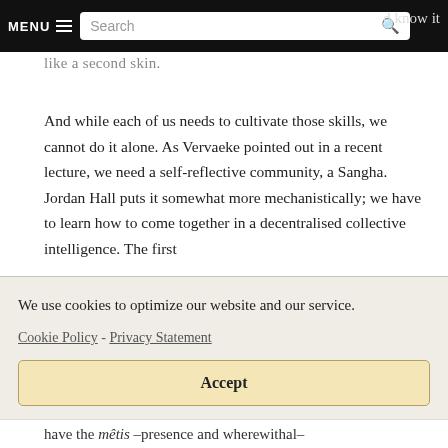MENU  Search  d know it
like a second skin.
And while each of us needs to cultivate those skills, we cannot do it alone. As Vervaeke pointed out in a recent lecture, we need a self-reflective community, a Sangha. Jordan Hall puts it somewhat more mechanistically; we have to learn how to come together in a decentralised collective intelligence. The first
We use cookies to optimize our website and our service.
Cookie Policy - Privacy Statement
Accept
have the mêtis –presence and wherewithal–